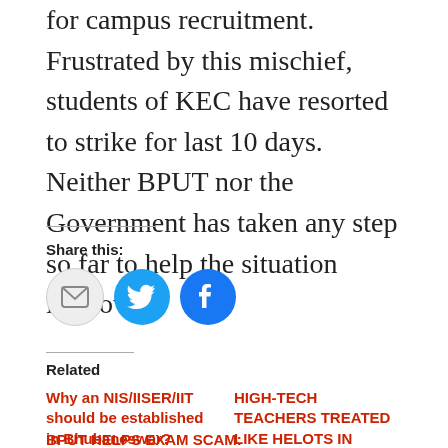for campus recruitment. Frustrated by this mischief, students of KEC have resorted to strike for last 10 days. Neither BPUT nor the Government has taken any step so far to help the situation improve.
Share this:
[Figure (other): Share buttons: email, Twitter, Facebook]
Related
Why an NIS/IISER/IIT should be established in Bhubaneswar?
October 13, 2005
In "education"
HIGH-TECH TEACHERS TREATED LIKE HELOTS IN ORISSA
July 24, 2009
In "Editorials"
BPUT HELPS EXAM SCAM: